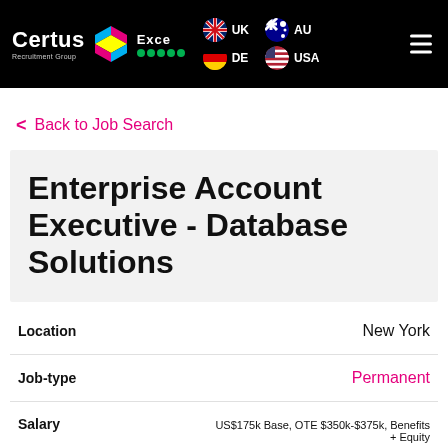[Figure (logo): Certus Recruitment Group logo with diamond shape, Excel badge with green stars, UK/DE/AU/USA flag icons, and hamburger menu on black header bar]
< Back to Job Search
Enterprise Account Executive - Database Solutions
| Field | Value |
| --- | --- |
| Location | New York |
| Job-type | Permanent |
| Salary | US$175k Base, OTE $350k-$375k, Benefits + Equity |